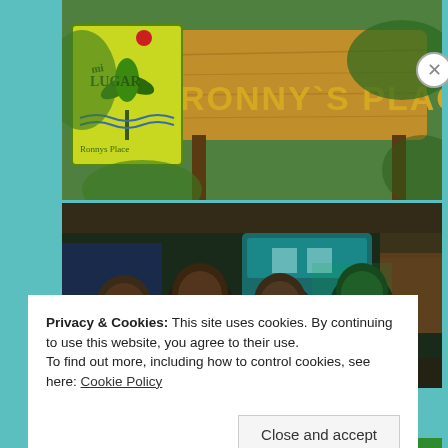[Figure (photo): Sign for Ronny's Place restaurant/lodge with tropical plants. A yellow-green rectangular sign features a palm tree logo with 'mi LUGAR' text. A large wooden carved sign reads 'RONNY'S PLACE' in bold yellow letters. Tropical foliage surrounds the sign.]
[Figure (photo): Four children smiling at the camera in a dimly lit outdoor area, possibly a parking/covered area at night with a teal/blue bus and vehicles visible in the background.]
Privacy & Cookies: This site uses cookies. By continuing to use this website, you agree to their use.
To find out more, including how to control cookies, see here: Cookie Policy
Close and accept